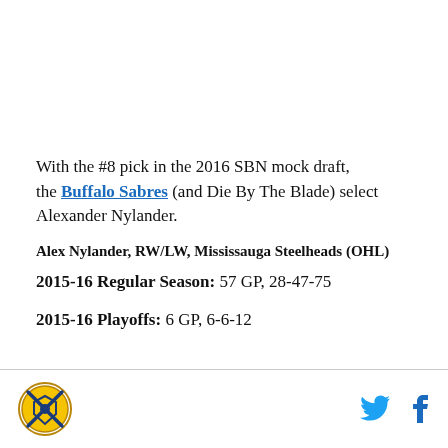With the #8 pick in the 2016 SBN mock draft, the Buffalo Sabres (and Die By The Blade) select Alexander Nylander.
Alex Nylander, RW/LW, Mississauga Steelheads (OHL)
2015-16 Regular Season: 57 GP, 28-47-75
2015-16 Playoffs: 6 GP, 6-6-12
Die By The Blade logo | Twitter | Facebook